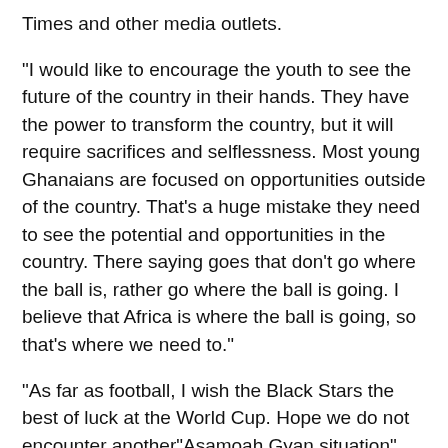Times and other media outlets.
“I would like to encourage the youth to see the future of the country in their hands. They have the power to transform the country, but it will require sacrifices and selflessness. Most young Ghanaians are focused on opportunities outside of the country. That’s a huge mistake they need to see the potential and opportunities in the country. There saying goes that don’t go where the ball is, rather go where the ball is going. I believe that Africa is where the ball is going, so that’s where we need to.”
“As far as football, I wish the Black Stars the best of luck at the World Cup. Hope we do not encounter another”Asamoah Gyan situation” like last time, and actually bring the trophy home this time. It’s about time! #LetsGoalGhana
Sandra holds a degree in Communications from the Syracuse University – The Newhouse School of Public Communications and currently lives in New York, United